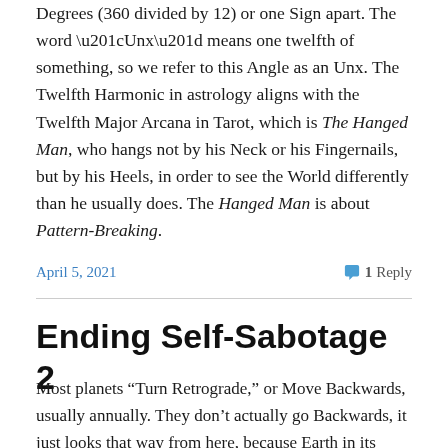Degrees (360 divided by 12) or one Sign apart. The word “Unx” means one twelfth of something, so we refer to this Angle as an Unx. The Twelfth Harmonic in astrology aligns with the Twelfth Major Arcana in Tarot, which is The Hanged Man, who hangs not by his Neck or his Fingernails, but by his Heels, in order to see the World differently than he usually does. The Hanged Man is about Pattern-Breaking.
April 5, 2021   1 Reply
Ending Self-Sabotage 2
Most planets “Turn Retrograde,” or Move Backwards, usually annually. They don’t actually go Backwards, it just looks that way from here, because Earth in its orbit is passing the slower planet in its orbit. Because the Earth